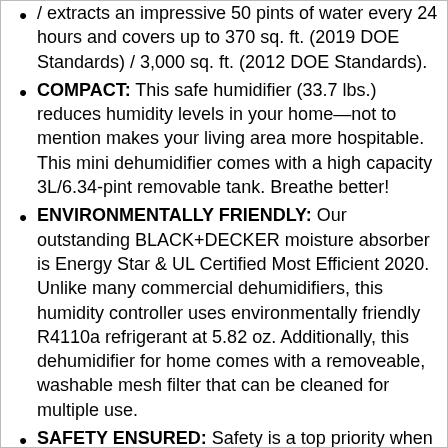... extracts an impressive 50 pints of water every 24 hours and covers up to 370 sq. ft. (2019 DOE Standards) / 3,000 sq. ft. (2012 DOE Standards).
COMPACT: This safe humidifier (33.7 lbs.) reduces humidity levels in your home—not to mention makes your living area more hospitable. This mini dehumidifier comes with a high capacity 3L/6.34-pint removable tank. Breathe better!
ENVIRONMENTALLY FRIENDLY: Our outstanding BLACK+DECKER moisture absorber is Energy Star & UL Certified Most Efficient 2020. Unlike many commercial dehumidifiers, this humidity controller uses environmentally friendly R4110a refrigerant at 5.82 oz. Additionally, this dehumidifier for home comes with a removeable, washable mesh filter that can be cleaned for multiple use.
SAFETY ENSURED: Safety is a top priority when selecting the right dehumidifier for bedroom, which is why this 6.34-pint bucket comes with a water level